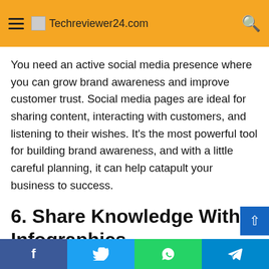Techreviewer24.com
You need an active social media presence where you can grow brand awareness and improve customer trust. Social media pages are ideal for sharing content, interacting with customers, and listening to their wishes. It's the most powerful tool for building brand awareness, and with a little careful planning, it can help catapult your business to success.
6. Share Knowledge With Infographics
One of the ways you can reach out to your targeted audience is to engage online groups interested in your market. You can do that by sharing content and blog posts on the right social network pages, but you can also share your expertise through